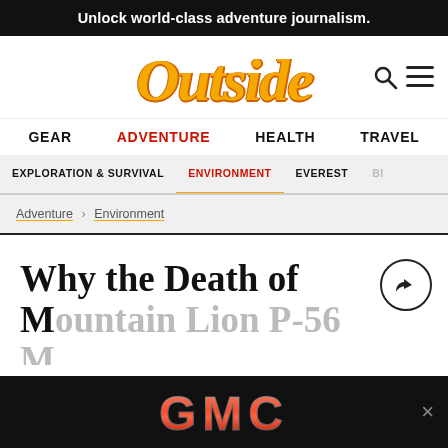Unlock world-class adventure journalism.
[Figure (logo): Outside magazine logo in bold italic orange/yellow text with dark orange outline]
GEAR
ADVENTURE
HEALTH
TRAVEL
EXPLORATION & SURVIVAL
ENVIRONMENT
EVEREST
Adventure > Environment
Why the Death of Mountain Lion P-56
[Figure (logo): GMC logo advertisement banner at bottom of page]